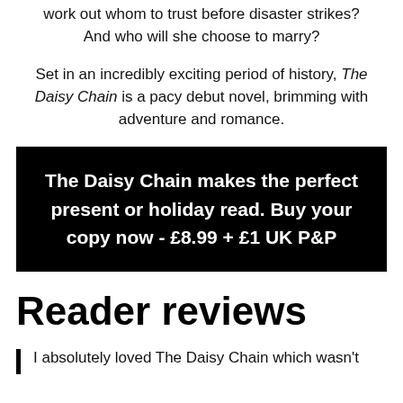work out whom to trust before disaster strikes? And who will she choose to marry?
Set in an incredibly exciting period of history, The Daisy Chain is a pacy debut novel, brimming with adventure and romance.
The Daisy Chain makes the perfect present or holiday read. Buy your copy now - £8.99 + £1 UK P&P
Reader reviews
I absolutely loved The Daisy Chain which wasn't